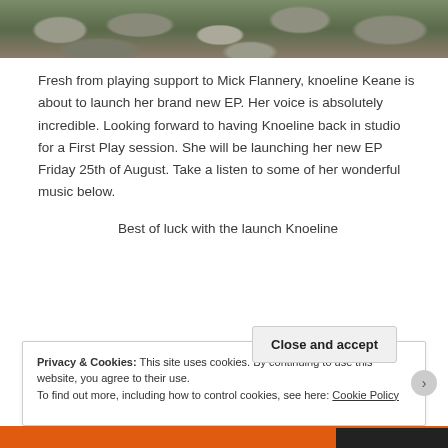[Figure (photo): Partial photo of a person outdoors near a stone wall, showing bottom edge of image at the top of the page.]
Fresh from playing support to Mick Flannery, knoeline Keane is about to launch her brand new EP. Her voice is absolutely incredible. Looking forward to having Knoeline back in studio for a First Play session. She will be launching her new EP Friday 25th of August. Take a listen to some of her wonderful music below.
Best of luck with the launch Knoeline
Privacy & Cookies: This site uses cookies. By continuing to use this website, you agree to their use.
To find out more, including how to control cookies, see here: Cookie Policy
Close and accept